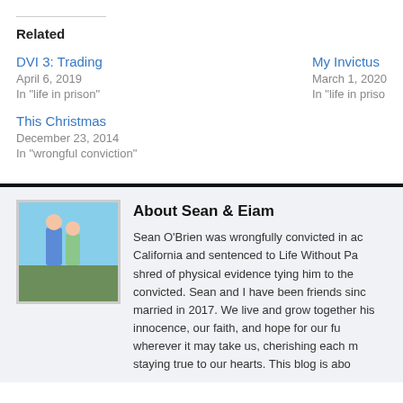Related
DVI 3: Trading
April 6, 2019
In "life in prison"
My Invictus
March 1, 2020
In "life in prison"
This Christmas
December 23, 2014
In "wrongful conviction"
About Sean & Eiam
[Figure (photo): Photo of Sean and Eiam, a couple, standing together outdoors]
Sean O'Brien was wrongfully convicted in ac California and sentenced to Life Without Pa shred of physical evidence tying him to the convicted. Sean and I have been friends sinc married in 2017. We live and grow together his innocence, our faith, and hope for our fu wherever it may take us, cherishing each m staying true to our hearts. This blog is abo